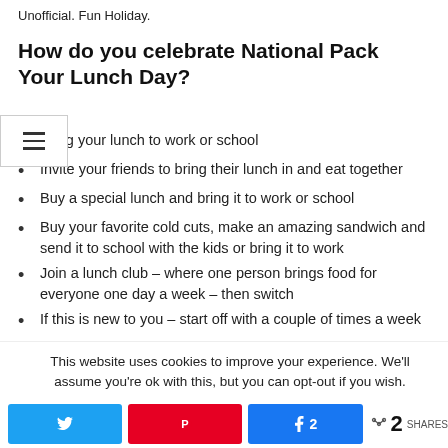Unofficial. Fun Holiday.
How do you celebrate National Pack Your Lunch Day?
Bring your lunch to work or school
Invite your friends to bring their lunch in and eat together
Buy a special lunch and bring it to work or school
Buy your favorite cold cuts, make an amazing sandwich and send it to school with the kids or bring it to work
Join a lunch club – where one person brings food for everyone one day a week – then switch
If this is new to you – start off with a couple of times a week
This website uses cookies to improve your experience. We'll assume you're ok with this, but you can opt-out if you wish.
[Figure (other): Share bar with Twitter, Pinterest, Facebook buttons and share count of 2]